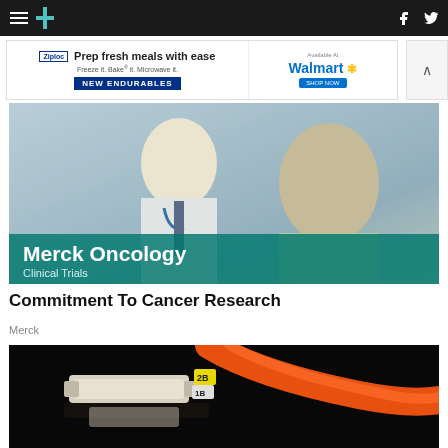HuffPost navigation header with hamburger menu, HuffPost logo, Facebook and Twitter icons
[Figure (other): Ziploc advertisement banner: 'Prep fresh meals with ease. Freeze it. Bake it. Microwave it. NEW ENDURABLES' with Walmart branding]
[Figure (photo): Doctor in white coat with stethoscope consulting with a patient. Merck Oncology Clinical Trials branding overlay at bottom.]
Commitment To Cancer Research
Merck
[Figure (photo): Close-up of fiber optic cables or medical connectors on dark background with number labels 2B and 1B]